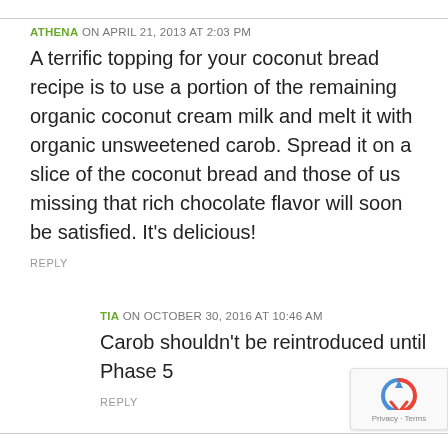ATHENA ON APRIL 21, 2013 AT 2:03 PM
A terrific topping for your coconut bread recipe is to use a portion of the remaining organic coconut cream milk and melt it with organic unsweetened carob. Spread it on a slice of the coconut bread and those of us missing that rich chocolate flavor will soon be satisfied. It's delicious!
REPLY
TIA ON OCTOBER 30, 2016 AT 10:46 AM
Carob shouldn't be reintroduced until Phase 5
REPLY